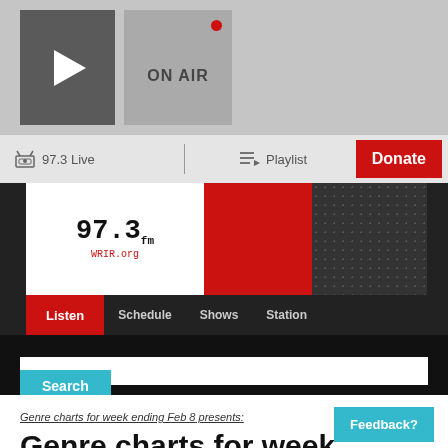[Figure (screenshot): Radio station app interface showing a play button and ON AIR button in a gray top bar]
97.3 Live | Playlist | Donate
[Figure (logo): 97.3 WRIR.org logo in white box, red block, and dotted dark block forming site header with Listen, Schedule, Shows, Station navigation]
Search
Genre charts for week ending Feb 8 presents:
Genre charts for week ending Feb 8
AAA
Feedback?